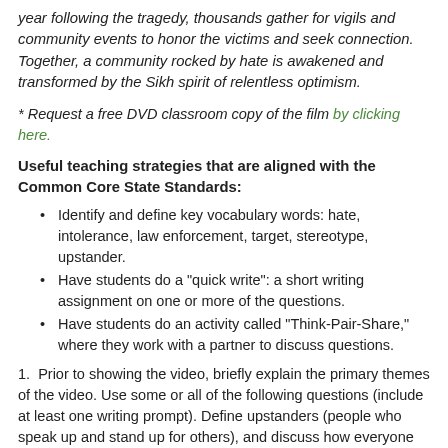year following the tragedy, thousands gather for vigils and community events to honor the victims and seek connection. Together, a community rocked by hate is awakened and transformed by the Sikh spirit of relentless optimism.
* Request a free DVD classroom copy of the film by clicking here.
Useful teaching strategies that are aligned with the Common Core State Standards:
Identify and define key vocabulary words: hate, intolerance, law enforcement, target, stereotype, upstander.
Have students do a "quick write": a short writing assignment on one or more of the questions.
Have students do an activity called "Think-Pair-Share," where they work with a partner to discuss questions.
1.  Prior to showing the video, briefly explain the primary themes of the video. Use some or all of the following questions (include at least one writing prompt). Define upstanders (people who speak up and stand up for others), and discuss how everyone can learn to be an upstander.
Create a KWL chart (a chart that highlights what they know, want they want to know, and what they learned).